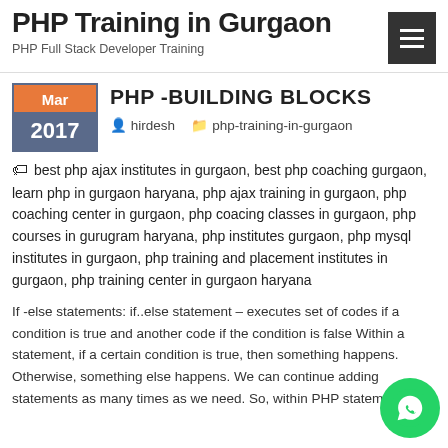PHP Training in Gurgaon
PHP Full Stack Developer Training
PHP -BUILDING BLOCKS
hirdesh   php-training-in-gurgaon
best php ajax institutes in gurgaon, best php coaching gurgaon, learn php in gurgaon haryana, php ajax training in gurgaon, php coaching center in gurgaon, php coacing classes in gurgaon, php courses in gurugram haryana, php institutes gurgaon, php mysql institutes in gurgaon, php training and placement institutes in gurgaon, php training center in gurgaon haryana
If -else statements: if..else statement – executes set of codes if a condition is true and another code if the condition is false Within a statement, if a certain condition is true, then something happens. Otherwise, something else happens. We can continue adding statements as many times as we need. So, within PHP statement